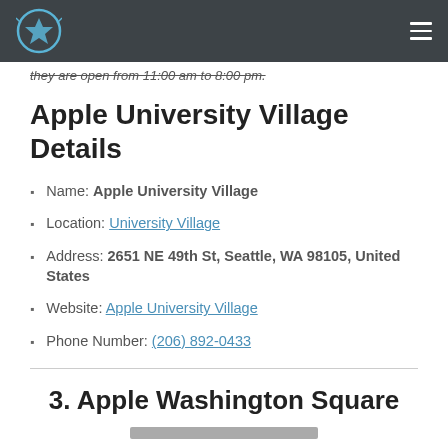they are open from 11:00 am to 8:00 pm.
Apple University Village Details
Name: Apple University Village
Location: University Village
Address: 2651 NE 49th St, Seattle, WA 98105, United States
Website: Apple University Village
Phone Number: (206) 892-0433
3. Apple Washington Square